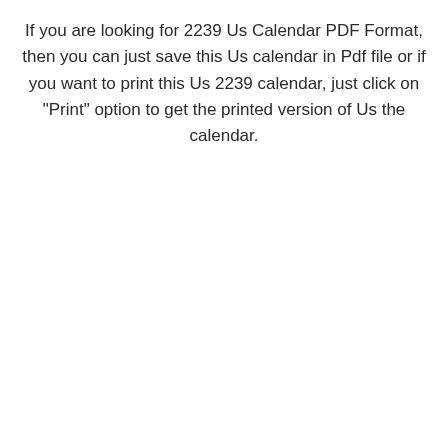If you are looking for 2239 Us Calendar PDF Format, then you can just save this Us calendar in Pdf file or if you want to print this Us 2239 calendar, just click on "Print" option to get the printed version of Us the calendar.